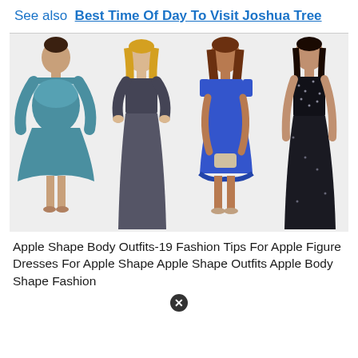See also  Best Time Of Day To Visit Joshua Tree
[Figure (photo): Four plus-size women modeling formal/semi-formal dresses: first in teal lace off-shoulder short dress, second in dark gray lace-top long gown, third in royal blue short dress with lace hem, fourth in black sparkly long gown.]
Apple Shape Body Outfits-19 Fashion Tips For Apple Figure Dresses For Apple Shape Apple Shape Outfits Apple Body Shape Fashion